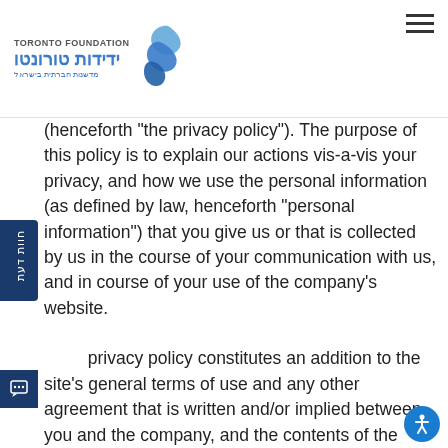TORONTO FOUNDATION | ידידות טורונטו | מדשנות חברתית בישראל
(henceforth "the privacy policy"). The purpose of this policy is to explain our actions vis-a-vis your privacy, and how we use the personal information (as defined by law, henceforth "personal information") that you give us or that is collected by us in the course of your communication with us, and in course of your use of the company's website.
privacy policy constitutes an addition to the site's general terms of use and any other agreement that is written and/or implied between you and the company, and the contents of the policy add to them without detracting from them, and constitute an integral part of them. By using the website and the services of the company you are agreeing to the terms of this privacy policy and to the changes that will be made to it from time to time. We